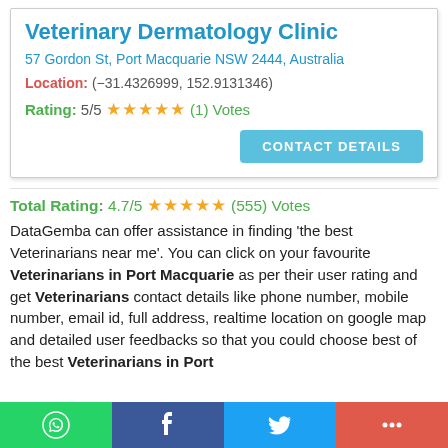Veterinary Dermatology Clinic
57 Gordon St, Port Macquarie NSW 2444, Australia
Location: (−31.4326999, 152.9131346)
Rating: 5/5 ★★★★★ (1) Votes
CONTACT DETAILS
Total Rating: 4.7/5 ★★★★★ (555) Votes
DataGemba can offer assistance in finding 'the best Veterinarians near me'. You can click on your favourite Veterinarians in Port Macquarie as per their user rating and get Veterinarians contact details like phone number, mobile number, email id, full address, realtime location on google map and detailed user feedbacks so that you could choose best of the best Veterinarians in Port